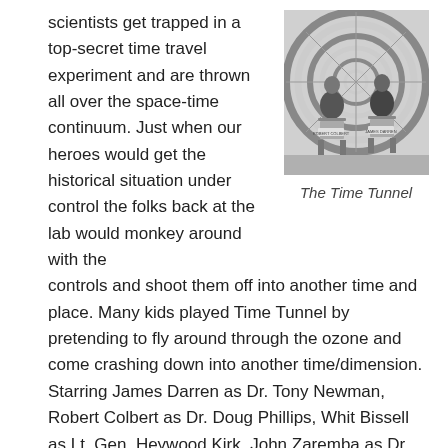scientists get trapped in a top-secret time travel experiment and are thrown all over the space-time continuum. Just when our heroes would get the historical situation under control the folks back at the lab would monkey around with the controls and shoot them off into another time and place. Many kids played Time Tunnel by pretending to fly around through the ozone and come crashing down into another time/dimension. Starring James Darren as Dr. Tony Newman, Robert Colbert as Dr. Doug Phillips, Whit Bissell as Lt. Gen. Heywood Kirk, John Zaremba as Dr. Raymond Swain, and the lovely Lee Meriwether as Dr. Ann MacGregor. The show aired from 1966 to 1967.
[Figure (photo): Black and white photo of two men sitting in director's chairs in front of a spiral/tunnel background. Chair labels visible. From the TV show The Time Tunnel.]
The Time Tunnel